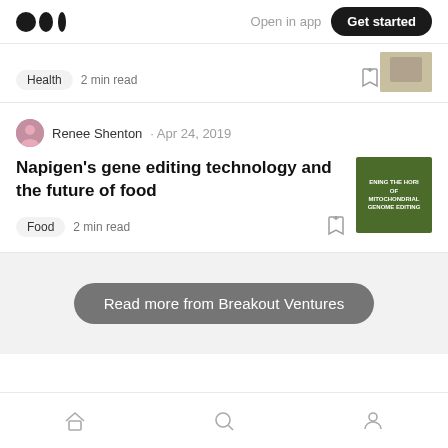Medium logo | Open in app | Get started
Health  2 min read
Renee Shenton · Apr 24, 2019
Napigen's gene editing technology and the future of food
Food  2 min read
Read more from Breakout Ventures
Home | Search | Profile